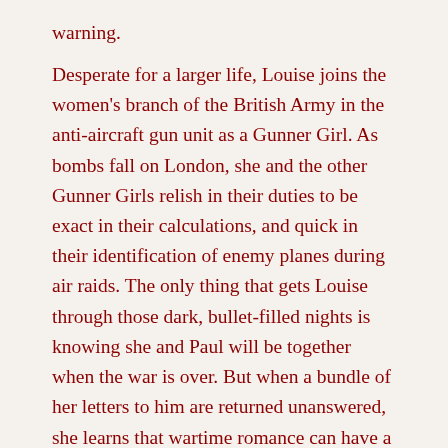warning.
Desperate for a larger life, Louise joins the women's branch of the British Army in the anti-aircraft gun unit as a Gunner Girl. As bombs fall on London, she and the other Gunner Girls relish in their duties to be exact in their calculations, and quick in their identification of enemy planes during air raids. The only thing that gets Louise through those dark, bullet-filled nights is knowing she and Paul will be together when the war is over. But when a bundle of her letters to him are returned unanswered, she learns that wartime romance can have a much darker side. (publisher)